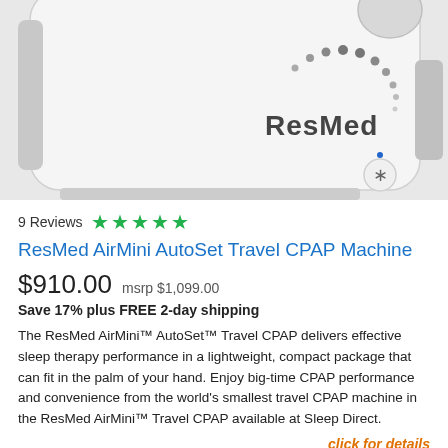[Figure (photo): Photo of ResMed AirMini AutoSet Travel CPAP Machine, white compact device showing the ResMed logo and Bluetooth button]
9 Reviews ★★★★★
ResMed AirMini AutoSet Travel CPAP Machine
$910.00  msrp $1,099.00
Save 17% plus FREE 2-day shipping
The ResMed AirMini™ AutoSet™ Travel CPAP delivers effective sleep therapy performance in a lightweight, compact package that can fit in the palm of your hand. Enjoy big-time CPAP performance and convenience from the world's smallest travel CPAP machine in the ResMed AirMini™ Travel CPAP available at Sleep Direct.
click for details